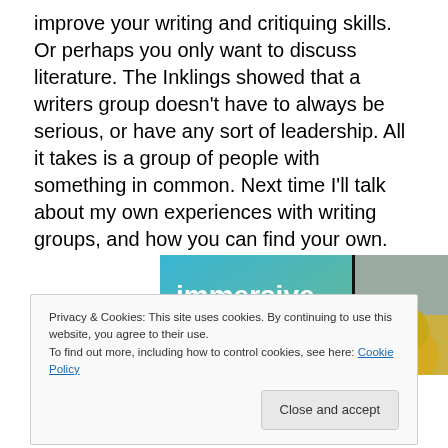improve your writing and critiquing skills. Or perhaps you only want to discuss literature. The Inklings showed that a writers group doesn't have to always be serious, or have any sort of leadership. All it takes is a group of people with something in common. Next time I'll talk about my own experiences with writing groups, and how you can find your own.
[Figure (illustration): Advertisement banner with blue-green gradient background on left showing text 'immersive stories.' in white bold font, and a photo of a person in a yellow jacket on the right side, with a small 'Aa' badge button.]
Privacy & Cookies: This site uses cookies. By continuing to use this website, you agree to their use.
To find out more, including how to control cookies, see here: Cookie Policy